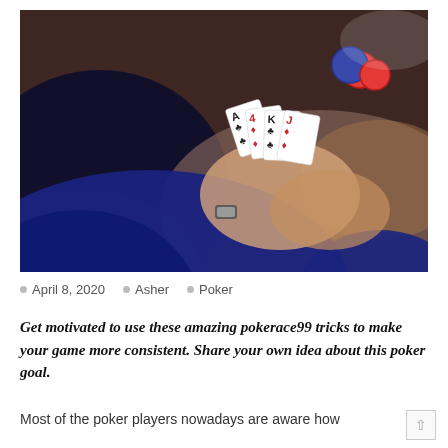[Figure (photo): Person in dark navy suit viewed from behind, holding playing cards (including Ace, 4, King, Jack visible) at a poker table with chips and cards visible in the background]
April 8, 2020  Asher  Poker
Get motivated to use these amazing pokerace99 tricks to make your game more consistent. Share your own idea about this poker goal.
Most of the poker players nowadays are aware how